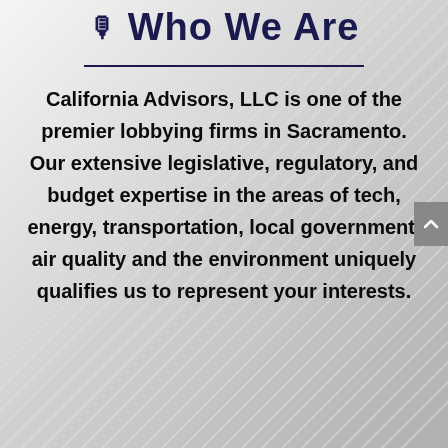Who We Are
California Advisors, LLC is one of the premier lobbying firms in Sacramento. Our extensive legislative, regulatory, and budget expertise in the areas of tech, energy, transportation, local government, air quality and the environment uniquely qualifies us to represent your interests.